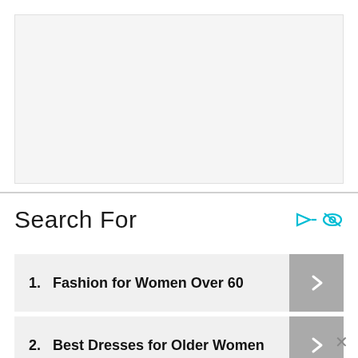[Figure (other): Advertisement placeholder banner, light gray background]
Search For
1. Fashion for Women Over 60
2. Best Dresses for Older Women
3. Vitamins for Hair Loss
4. Plus-Size Fashion